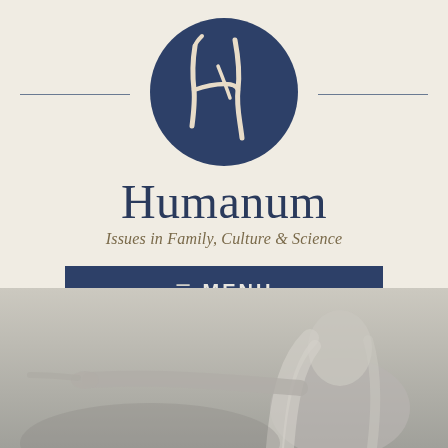[Figure (logo): Humanum magazine logo: dark navy blue circle with a hand-drawn stylized 'H' letter in cream/beige color]
Humanum
Issues in Family, Culture & Science
≡  MENU
[Figure (photo): Black and white or sepia-toned photo of a woman with long blonde/white hair pointing outward, visible from roughly waist up]